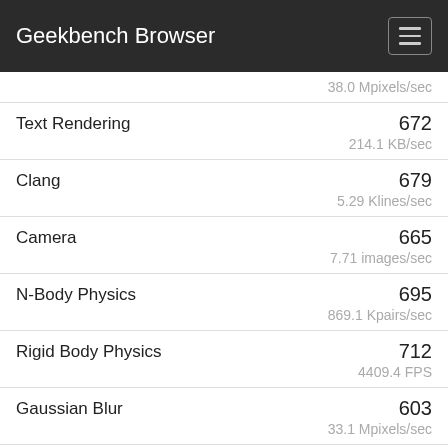Geekbench Browser
38.0 Mpixels/sec
| Benchmark | Score | Rate |
| --- | --- | --- |
| Text Rendering | 672 | 214.1 KB/sec |
| Clang | 679 | 5.29 Klines/sec |
| Camera | 665 | 7.71 images/sec |
| N-Body Physics | 695 | 869.1 Kpairs/sec |
| Rigid Body Physics | 712 | 4409.4 FPS |
| Gaussian Blur | 603 | 33.1 Mpixels/sec |
| Face Detection | 704 | 5.42 images/sec |